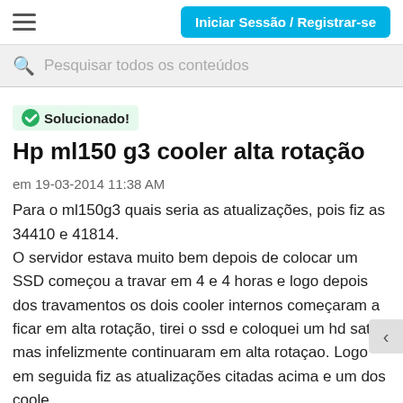Iniciar Sessão / Registrar-se
Pesquisar todos os conteúdos
Solucionado! Hp ml150 g3 cooler alta rotação
em 19-03-2014 11:38 AM
Para o ml150g3 quais seria as atualizações, pois fiz as 34410 e 41814. O servidor estava muito bem depois de colocar um SSD começou a travar em 4 e 4 horas e logo depois dos travamentos os dois cooler internos começaram a ficar em alta rotação, tirei o ssd e coloquei um hd sata mas infelizmente continuaram em alta rotaçao. Logo em seguida fiz as atualizações citadas acima e um dos coole